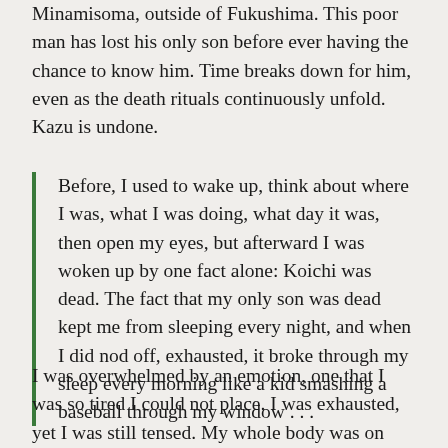Minamisoma, outside of Fukushima. This poor man has lost his only son before ever having the chance to know him. Time breaks down for him, even as the death rituals continuously unfold. Kazu is undone.
Before, I used to wake up, think about where I was, what I was doing, what day it was, then open my eyes, but afterward I was woken up by one fact alone: Koichi was dead. The fact that my only son was dead kept me from sleeping every night, and when I did nod off, exhausted, it broke through my sleep every morning like a kid smashing a baseball through my window . . .
I was overwhelmed by an emotion, one that I was so tired I could not place. I was exhausted, yet I was still tensed. My whole body was on guard against my emotions. I could not bear it, no more, I could not